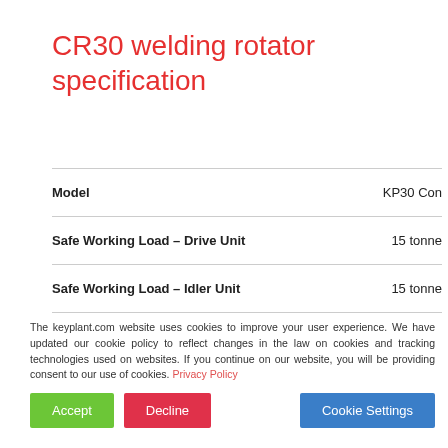CR30 welding rotator specification
| Specification | Value |
| --- | --- |
| Model | KP30 Con |
| Safe Working Load – Drive Unit | 15 tonne |
| Safe Working Load – Idler Unit | 15 tonne |
The keyplant.com website uses cookies to improve your user experience. We have updated our cookie policy to reflect changes in the law on cookies and tracking technologies used on websites. If you continue on our website, you will be providing consent to our use of cookies. Privacy Policy